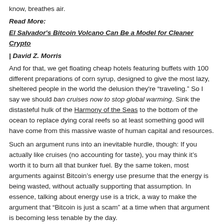know, breathes air.
Read More:
El Salvador's Bitcoin Volcano Can Be a Model for Cleaner Crypto
| David Z. Morris
And for that, we get floating cheap hotels featuring buffets with 100 different preparations of corn syrup, designed to give the most lazy, sheltered people in the world the delusion they're “traveling.” So I say we should ban cruises now to stop global warming. Sink the distasteful hulk of the Harmony of the Seas to the bottom of the ocean to replace dying coral reefs so at least something good will have come from this massive waste of human capital and resources.
Such an argument runs into an inevitable hurdle, though: If you actually like cruises (no accounting for taste), you may think it’s worth it to burn all that bunker fuel. By the same token, most arguments against Bitcoin’s energy use presume that the energy is being wasted, without actually supporting that assumption. In essence, talking about energy use is a trick, a way to make the argument that “Bitcoin is just a scam” at a time when that argument is becoming less tenable by the day.